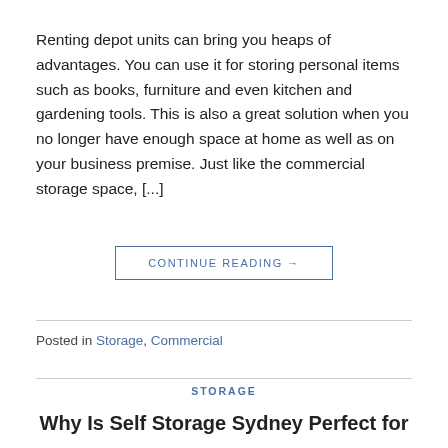Renting depot units can bring you heaps of advantages. You can use it for storing personal items such as books, furniture and even kitchen and gardening tools. This is also a great solution when you no longer have enough space at home as well as on your business premise. Just like the commercial storage space, [...]
CONTINUE READING →
Posted in Storage, Commercial
STORAGE
Why Is Self Storage Sydney Perfect for